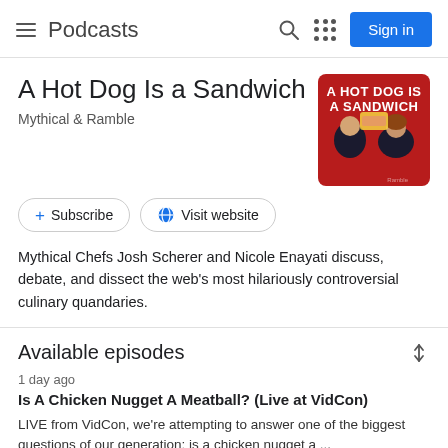Podcasts
A Hot Dog Is a Sandwich
Mythical & Ramble
[Figure (photo): Podcast thumbnail for 'A Hot Dog Is a Sandwich' showing two hosts on a red background with the podcast title in white bold text]
+ Subscribe  Visit website
Mythical Chefs Josh Scherer and Nicole Enayati discuss, debate, and dissect the web's most hilariously controversial culinary quandaries.
Available episodes
1 day ago
Is A Chicken Nugget A Meatball? (Live at VidCon)
LIVE from VidCon, we're attempting to answer one of the biggest questions of our generation: is a chicken nugget a ...